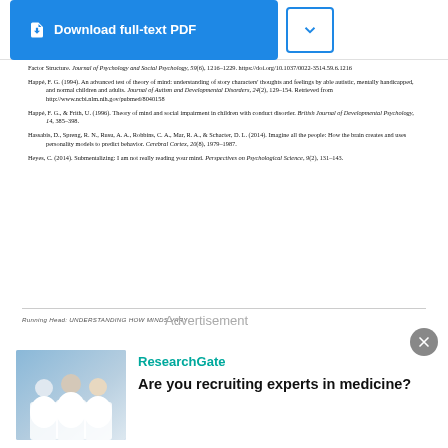[Figure (other): Download full-text PDF button and dropdown arrow button]
Factor Structure. Journal of Psychology and Social Psychology, 59(6), 1216–1229. https://doi.org/10.1037/0022-3514.59.6.1216
Happé, F. G. (1994). An advanced test of theory of mind: understanding of story characters' thoughts and feelings by able autistic, mentally handicapped, and normal children and adults. Journal of Autism and Developmental Disorders, 24(2), 129–154. Retrieved from http://www.ncbi.nlm.nih.gov/pubmed/8040158
Happé, F. G., & Frith, U. (1996). Theory of mind and social impairment in children with conduct disorder. British Journal of Developmental Psychology, 14, 385–398.
Hassabis, D., Spreng, R. N., Rusu, A. A., Robbins, C. A., Mar, R. A., & Schacter, D. L. (2014). Imagine all the people: How the brain creates and uses personality models to predict behavior. Cerebral Cortex, 20(8), 1979–1987.
Heyes, C. (2014). Submentalizing: I am not really reading your mind. Perspectives on Psychological Science, 9(2), 131–143.
Running Head: UNDERSTANDING HOW MINDS VARY
Advertisement
[Figure (photo): Photo of group of people in white lab coats, researchers]
ResearchGate
Are you recruiting experts in medicine?